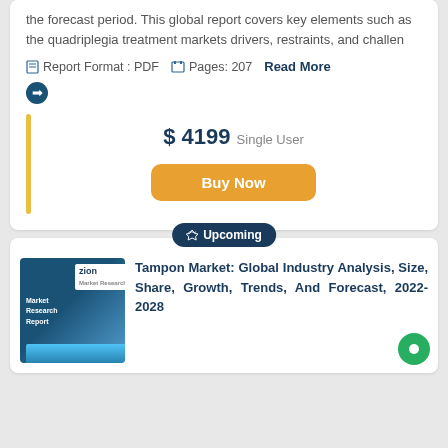the forecast period. This global report covers key elements such as the quadriplegia treatment markets drivers, restraints, and challen
Report Format : PDF   Pages: 207   Read More
$ 4199 Single User
Buy Now
Upcoming
[Figure (illustration): Zion Market Research Report thumbnail with blue gradient background and report cover image]
Tampon Market: Global Industry Analysis, Size, Share, Growth, Trends, And Forecast, 2022-2028